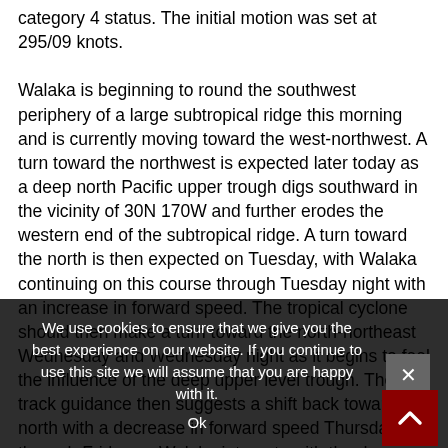category 4 status. The initial motion was set at 295/09 knots.

Walaka is beginning to round the southwest periphery of a large subtropical ridge this morning and is currently moving toward the west-northwest. A turn toward the northwest is expected later today as a deep north Pacific upper trough digs southward in the vicinity of 30N 170W and further erodes the western end of the subtropical ridge. A turn toward the north is then expected on Tuesday, with Walaka continuing on this course through Tuesday night with an increase in forward speed. The tropical cyclone should then make a turn toward the north-northeast Wednesday and Wednesday night as it begins to feel the influence of the deep upper level trough. The track guidance then suggests a shift back toward the north with a decrease in forward speed Thursday through Friday as Walaka interacts with the deep upper level trough, with a turn back toward the northeast expected Friday night. The official track forecast was changed very little from the previous advisory and remains in close proximity to the tightly clu... HCCA, TVCN, and GFEX consensus guidance.
We use cookies to ensure that we give you the best experience on our website. If you continue to use this site we will assume that you are happy with it.
Ok